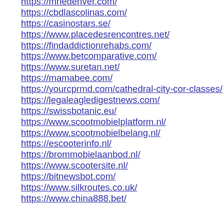https://mnedenver.com/
https://cbdlascolinas.com/
https://casinostars.se/
https://www.placedesrencontres.net/
https://findaddictionrehabs.com/
https://www.betcomparative.com/
https://www.suretan.net/
https://mamabee.com/
https://yourcprmd.com/cathedral-city-cor-classes/
https://legaleagledigestnews.com/
https://swissbotanic.eu/
https://www.scootmobielplatform.nl/
https://www.scootmobielbelang.nl/
https://escooterinfo.nl/
https://brommobielaanbod.nl/
https://www.scootersite.nl/
https://bitnewsbot.com/
https://www.silkroutes.co.uk/
https://www.china888.bet/